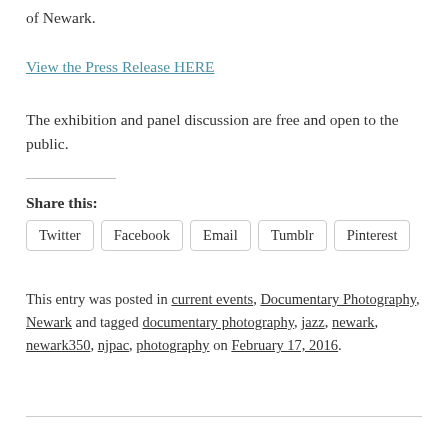of Newark.
View the Press Release HERE
The exhibition and panel discussion are free and open to the public.
Share this:
Twitter  Facebook  Email  Tumblr  Pinterest
This entry was posted in current events, Documentary Photography, Newark and tagged documentary photography, jazz, newark, newark350, njpac, photography on February 17, 2016.